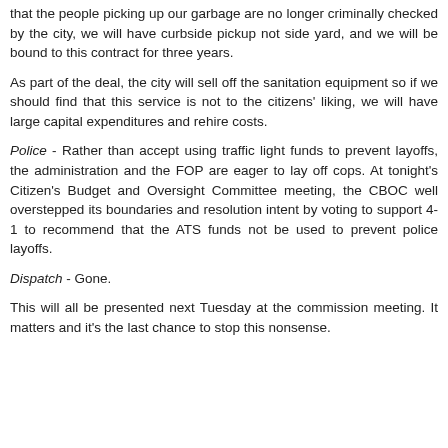that the people picking up our garbage are no longer criminally checked by the city, we will have curbside pickup not side yard, and we will be bound to this contract for three years.
As part of the deal, the city will sell off the sanitation equipment so if we should find that this service is not to the citizens' liking, we will have large capital expenditures and rehire costs.
Police - Rather than accept using traffic light funds to prevent layoffs, the administration and the FOP are eager to lay off cops. At tonight's Citizen's Budget and Oversight Committee meeting, the CBOC well overstepped its boundaries and resolution intent by voting to support 4-1 to recommend that the ATS funds not be used to prevent police layoffs.
Dispatch - Gone.
This will all be presented next Tuesday at the commission meeting. It matters and it's the last chance to stop this nonsense.